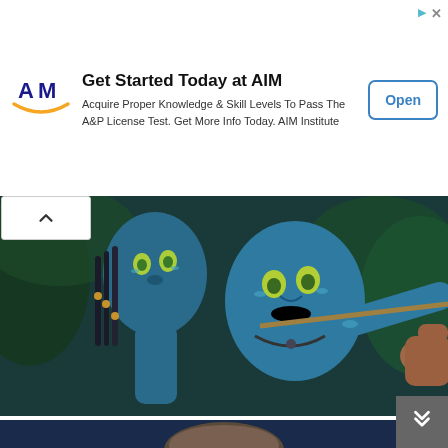[Figure (infographic): AIM Institute advertisement banner with logo, headline 'Get Started Today at AIM', body text, and Open button]
[Figure (photo): Movie still from Avatar showing two blue Na'vi characters with bow and arrow in a jungle setting]
11 Greatest Special Effects Movies Of All Time
Brainberries
[Figure (photo): Partial view of a man's face against a dark blue background, bottom strip]